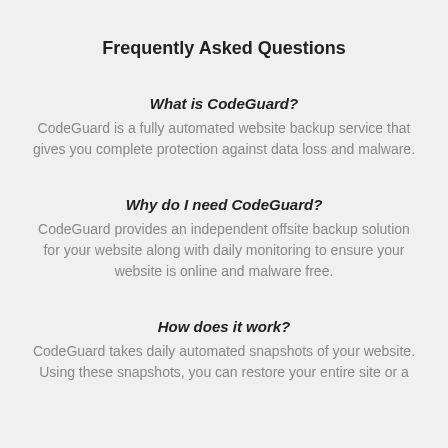Frequently Asked Questions
What is CodeGuard?
CodeGuard is a fully automated website backup service that gives you complete protection against data loss and malware.
Why do I need CodeGuard?
CodeGuard provides an independent offsite backup solution for your website along with daily monitoring to ensure your website is online and malware free.
How does it work?
CodeGuard takes daily automated snapshots of your website. Using these snapshots, you can restore your entire site or a